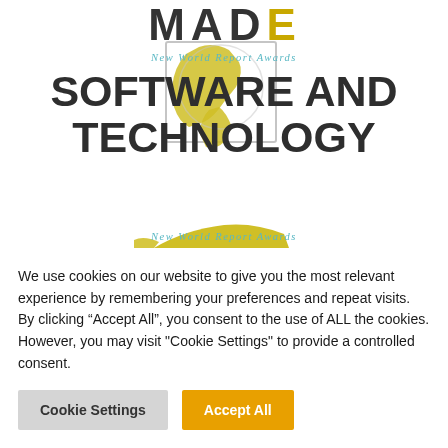[Figure (logo): New World Report Awards Software and Technology award logo with globe/map silhouette in yellow and 'MADE' text, with 'New World Report Awards' label and 'SOFTWARE AND TECHNOLOGY' in bold dark text. A second partial logo appears at the bottom.]
We use cookies on our website to give you the most relevant experience by remembering your preferences and repeat visits. By clicking “Accept All”, you consent to the use of ALL the cookies. However, you may visit "Cookie Settings" to provide a controlled consent.
Cookie Settings
Accept All